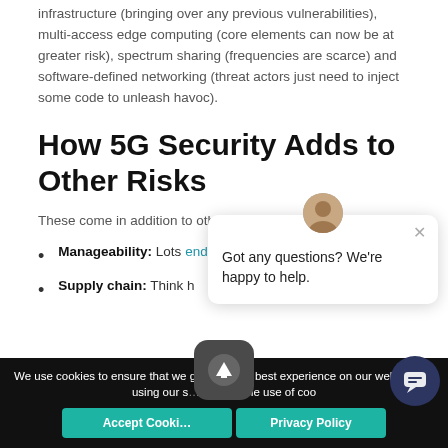infrastructure (bringing over any previous vulnerabilities), multi-access edge computing (core elements can now be at greater risk), spectrum sharing (frequencies are scarce) and software-defined networking (threat actors just need to inject some code to unleash havoc).
How 5G Security Adds to Other Risks
These come in addition to other risks today:
Manageability: Lots … endpoint security and …
Supply chain: Think h…
[Figure (screenshot): Chat popup overlay with avatar, close button, and text 'Got any questions? We're happy to help.']
[Figure (screenshot): Cookie consent bar at bottom with accept and privacy policy buttons, upload icon button, and chat bubble icon.]